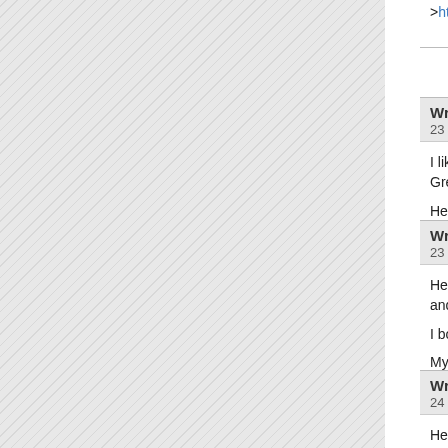>https://xxxclubporn.com/tag/%E0%B8%AB%E...
r
Write to Create Better
23 June 2022, by Gena
I like it when folks come together and share opinions. Great website, continue the good work!

Here is my blog post - [หนังราคาถูก-
>https://babe2porn.com/tag/%E0%B8%94%E0...
r
Write to Create Better
23 June 2022, by Rufus
Helpful info. Lucky me I found your web site accidentally and I'm shocked why this accident didn't came a...

I bookmarked it.

My web-site - [xxx->https://xxx69club.com/tag/x...
r
Write to Create Better
24 June 2022, by Gemma Jamieson
Hello just wanted to give you a quick heads up. your article seem to be running off the screen in Opera. I'm not sure formatting issue or something to do with web browser compatibility but I figured I'd post to let you know...